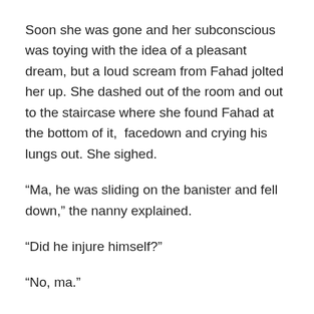Soon she was gone and her subconscious was toying with the idea of a pleasant dream, but a loud scream from Fahad jolted her up. She dashed out of the room and out to the staircase where she found Fahad at the bottom of it, facedown and crying his lungs out. She sighed.
“Ma, he was sliding on the banister and fell down,” the nanny explained.
“Did he injure himself?”
“No, ma.”
“Leave him there let him be crying. He doesn’t hear word.”
Salma returned to her bedroom. Unable to sleep, she picked